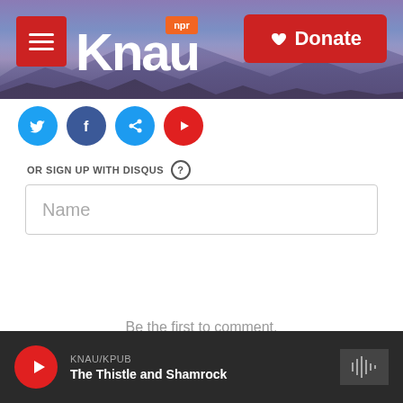[Figure (screenshot): KNAU NPR radio website header with purple mountain background, hamburger menu button, KNAU logo, and red Donate button]
[Figure (screenshot): Social media share icons row: Twitter, Facebook, share, and YouTube/red circle icons]
OR SIGN UP WITH DISQUS ?
Name
Be the first to comment.
Subscribe   Add Disqus   Do Not Sell My Data   DISQUS
KNAU/KPUB
The Thistle and Shamrock